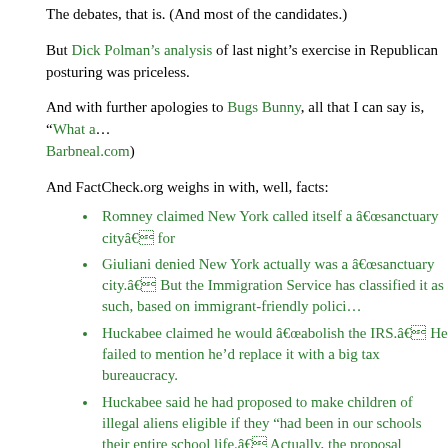The debates, that is. (And most of the candidates.)
But Dick Polman’s analysis of last night’s exercise in Republican posturing was priceless.
And with further apologies to Bugs Bunny, all that I can say is, “What a…” (via Barbneal.com)
And FactCheck.org weighs in with, well, facts:
Romney claimed New York called itself a “sanctuary city” for…
Giuliani denied New York actually was a “sanctuary city.” But the Immigration Service has classified it as such, based on immigrant-friendly policies…
Huckabee claimed he would “abolish the IRS.” He failed to mention he’d replace it with a big tax bureaucracy.
Huckabee said he had proposed to make children of illegal aliens eligible if they “had been in our schools their entire school life.” Actually, the proposal applied only to Arkansas schools.
Giuliani was correct on two points: While he was mayor, New York won four World Series titles. He was joking, but his gag should remind us that we tend to give mayors, or governors or presidents, all credit or blame for what was going on at the time.
Romney, claiming to be a “true suffering” fan of the Red Sox, said they waited 100 years for a World Series. They actually waited 86.